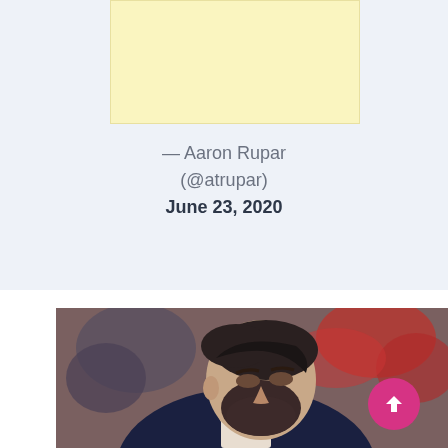[Figure (other): Yellow advertisement banner placeholder]
— Aaron Rupar (@atrupar) June 23, 2020
[Figure (photo): Photo of a man with dark hair and beard in a suit, with blurred crowd in background]
[Figure (other): Pink circular scroll-to-top button with upward arrow]